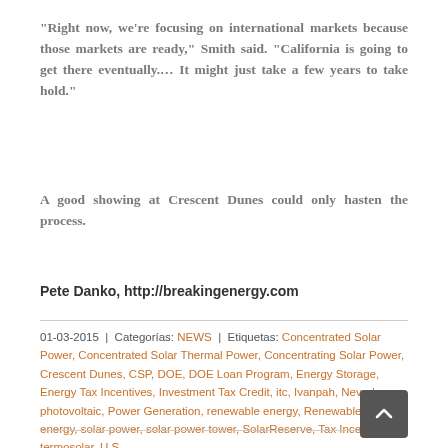“Right now, we’re focusing on international markets because those markets are ready,” Smith said. “California is going to get there eventually.… It might just take a few years to take hold.”
A good showing at Crescent Dunes could only hasten the process.
Pete Danko, http://breakingenergy.com
01-03-2015 | Categorías: NEWS | Etiquetas: Concentrated Solar Power, Concentrated Solar Thermal Power, Concentrating Solar Power, Crescent Dunes, CSP, DOE, DOE Loan Program, Energy Storage, Energy Tax Incentives, Investment Tax Credit, itc, Ivanpah, Nevada, photovoltaic, Power Generation, renewable energy, Renewables, solar energy, solar power, solar power tower, SolarReserve, Tax Incentives, termosolar, U.S.